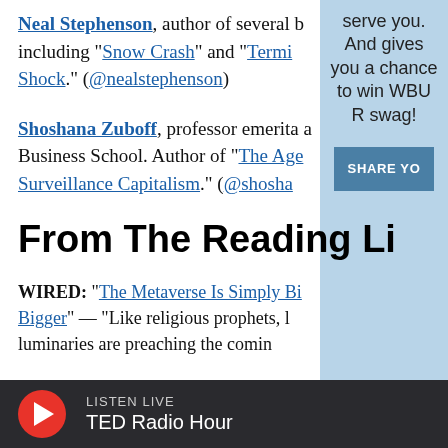Neal Stephenson, author of several books including "Snow Crash" and "Termination Shock." (@nealstephenson)
Shoshana Zuboff, professor emerita at Business School. Author of "The Age of Surveillance Capitalism." (@shoshana...)
From The Reading Li...
WIRED: "The Metaverse Is Simply Bigger and Bigger" — "Like religious prophets, luminaries are preaching the coming...
[Figure (other): Right sidebar with light blue background showing text: 'serve you. And gives you a chance to win WBUR swag!' and a blue SHARE YOU button]
LISTEN LIVE — TED Radio Hour